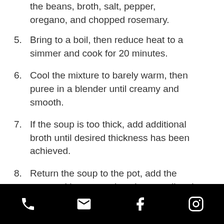the beans, broth, salt, pepper, oregano, and chopped rosemary.
5. Bring to a boil, then reduce heat to a simmer and cook for 20 minutes.
6. Cool the mixture to barely warm, then puree in a blender until creamy and smooth.
7. If the soup is too thick, add additional broth until desired thickness has been achieved.
8. Return the soup to the pot, add the reserved beans, and cook on medium low heat until hot.
Serve in individual bowls with toppings
Social media links: phone, email, facebook, instagram